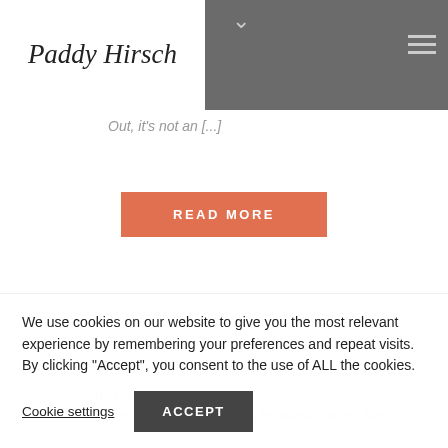Paddy Hirsch
Out, it's not an [...]
READ MORE
By Paddy
In Articles, books, Branding, Business, history, Non-
We use cookies on our website to give you the most relevant experience by remembering your preferences and repeat visits. By clicking "Accept", you consent to the use of ALL the cookies.
Cookie settings   ACCEPT